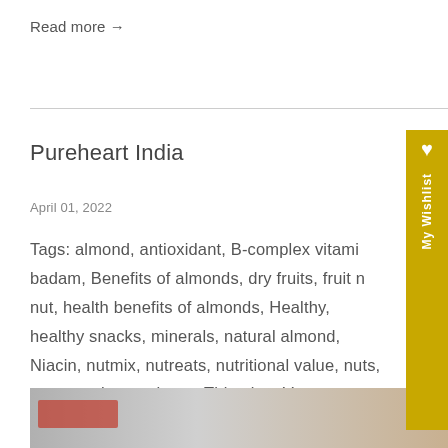Read more →
Pureheart India
April 01, 2022
Tags: almond, antioxidant, B-complex vitamins, badam, Benefits of almonds, dry fruits, fruit nut, health benefits of almonds, Healthy, healthy snacks, minerals, natural almond, Niacin, nutmix, nutreats, nutritional value, nuts, nutspreads, pureheart, Thiamine, Vegan, vitamin B1, vitamin E, vitamins
[Figure (photo): Partial image visible at bottom of page, appears to be food/nuts related with a red label overlay]